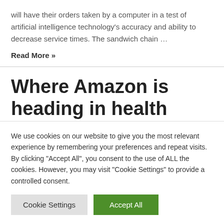will have their orders taken by a computer in a test of artificial intelligence technology's accuracy and ability to decrease service times. The sandwich chain …
Read More »
Where Amazon is heading in health after the Amazon Care
We use cookies on our website to give you the most relevant experience by remembering your preferences and repeat visits. By clicking "Accept All", you consent to the use of ALL the cookies. However, you may visit "Cookie Settings" to provide a controlled consent.